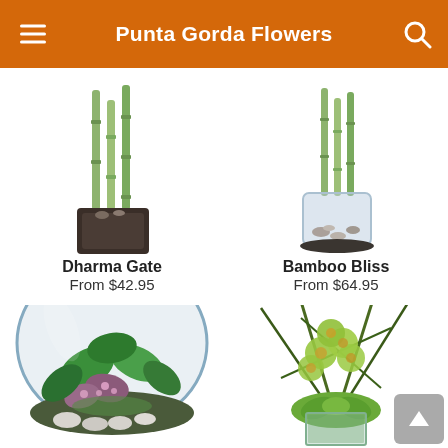Punta Gorda Flowers
[Figure (photo): Dharma Gate plant arrangement - bamboo stalks in a dark square wooden pot]
Dharma Gate
From $42.95
[Figure (photo): Bamboo Bliss plant arrangement - bamboo stalks in a clear glass cylinder vase with stones]
Bamboo Bliss
From $64.95
[Figure (photo): Large glass bowl terrarium with assorted green and purple plants and white pebbles]
[Figure (photo): Green cymbidium orchid arrangement with architectural grass blades and succulents in a clear square vase]